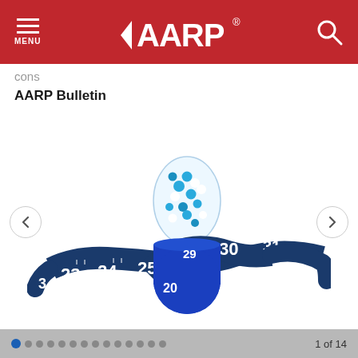AARP (logo) — MENU | Search
cons
AARP Bulletin
[Figure (photo): A blue and white capsule pill wrapped with a dark navy blue measuring tape showing numbers 23 through 35, photographed on a white background. The capsule top is transparent showing blue and white beads inside.]
1 of 14 (with dot navigation indicators)